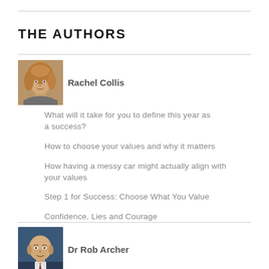THE AUTHORS
[Figure (photo): Headshot photo of Rachel Collis, a woman with shoulder-length blonde/auburn hair]
Rachel Collis
What will it take for you to define this year as a success?
How to choose your values and why it matters
How having a messy car might actually align with your values
Step 1 for Success: Choose What You Value
Confidence, Lies and Courage
[Figure (photo): Headshot photo of Dr Rob Archer, a bald man in a suit smiling]
Dr Rob Archer
Why Mental Health is About Going Back to Basics